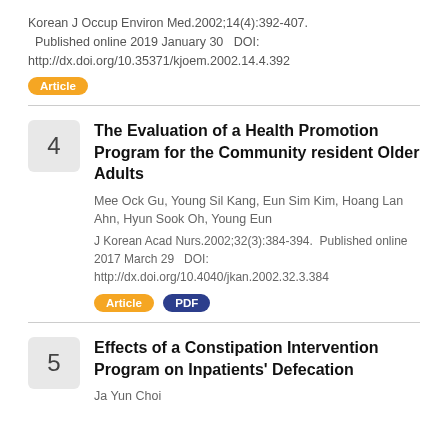Korean J Occup Environ Med.2002;14(4):392-407.   Published online 2019 January 30    DOI: http://dx.doi.org/10.35371/kjoem.2002.14.4.392
Article
The Evaluation of a Health Promotion Program for the Community resident Older Adults
Mee Ock Gu, Young Sil Kang, Eun Sim Kim, Hoang Lan Ahn, Hyun Sook Oh, Young Eun
J Korean Acad Nurs.2002;32(3):384-394.   Published online 2017 March 29    DOI: http://dx.doi.org/10.4040/jkan.2002.32.3.384
Article   PDF
Effects of a Constipation Intervention Program on Inpatients' Defecation
Ja Yun Choi